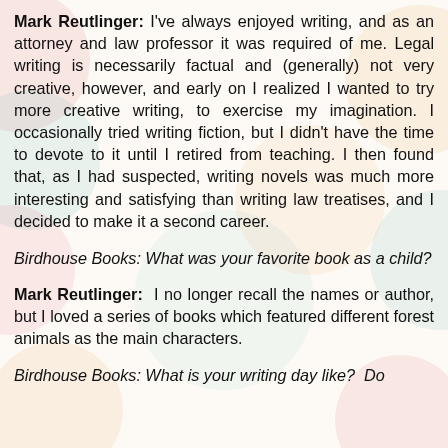Mark Reutlinger: I've always enjoyed writing, and as an attorney and law professor it was required of me. Legal writing is necessarily factual and (generally) not very creative, however, and early on I realized I wanted to try more creative writing, to exercise my imagination. I occasionally tried writing fiction, but I didn't have the time to devote to it until I retired from teaching. I then found that, as I had suspected, writing novels was much more interesting and satisfying than writing law treatises, and I decided to make it a second career.
Birdhouse Books: What was your favorite book as a child?
Mark Reutlinger:  I no longer recall the names or author, but I loved a series of books which featured different forest animals as the main characters.
Birdhouse Books: What is your writing day like?  Do